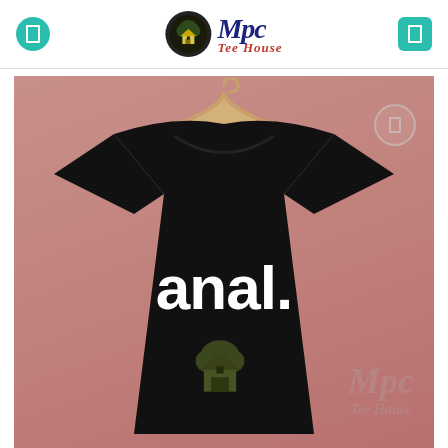[Figure (logo): Mpc Tee House logo with dark circle containing a house icon, blue italic 'Mpc' text and red italic 'Tee House' text]
[Figure (photo): Black t-shirt on a wooden hanger against a pink/mauve background. The shirt has white bold text reading 'anal.' and a dark olive house/bird logo watermark in the center. An Mpc Tee House watermark is visible in the lower right. A circular button overlay appears in the upper right of the image.]